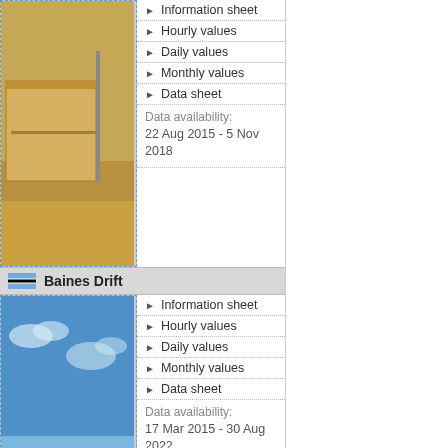[Figure (photo): Partial photo of a desert/scrub landscape station, top portion cut off]
Information sheet
Hourly values
Daily values
Monthly values
Data sheet
Data availability:
22 Aug 2015 - 5 Nov 2018
Baines Drift
[Figure (photo): Photo of blue sky with partial landscape, weather station area]
Information sheet
Hourly values
Daily values
Monthly values
Data sheet
Data availability:
17 Mar 2015 - 30 Aug 2022
Windhoek (NBRI)
[Figure (photo): Photo of weather station equipment on a pole with solar panel, arid landscape]
Information sheet
Hourly values
Daily values
Monthly values
Data sheet
Data availability:
1 Oct 2010 - today
Windhoek (Satellite)